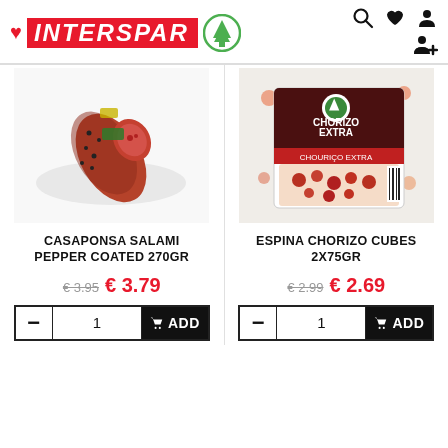[Figure (logo): Interspar logo with red heart and green tree symbol]
[Figure (photo): Casaponsa Salami Pepper Coated 270gr product image]
[Figure (photo): Espina Chorizo Cubes 2x75gr product package image]
CASAPONSA SALAMI PEPPER COATED 270gr
€ 3.95  € 3.79
ESPINA CHORIZO CUBES 2x75gr
€ 2.99  € 2.69